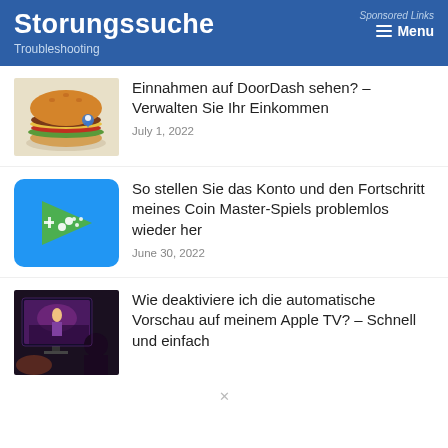Storungssuche – Troubleshooting | Sponsored Links | Menu
[Figure (photo): Photo of a hamburger/cheeseburger]
Einnahmen auf DoorDash sehen? – Verwalten Sie Ihr Einkommen
July 1, 2022
[Figure (logo): Google Play Games app icon – green play button on blue background]
So stellen Sie das Konto und den Fortschritt meines Coin Master-Spiels problemlos wieder her
June 30, 2022
[Figure (photo): Person watching a TV screen with a fantasy scene]
Wie deaktiviere ich die automatische Vorschau auf meinem Apple TV? – Schnell und einfach